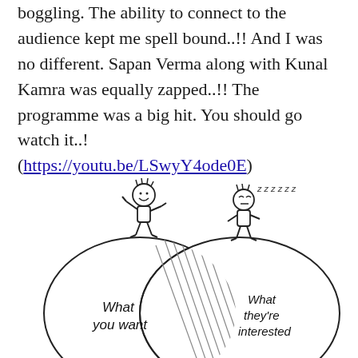boggling. The ability to connect to the audience kept me spell bound..!! And I was no different. Sapan Verma along with Kunal Kamra was equally zapped..!! The programme was a big hit. You should go watch it..!
(https://youtu.be/LSwyY4ode0E)
[Figure (illustration): A cartoon Venn diagram showing two overlapping circles. Left circle has a figure gesturing enthusiastically with text 'What you want'. Right circle has a figure with 'z z z z z z' indicating sleep/boredom with text 'What they're interested'. The overlapping section is cross-hatched.]